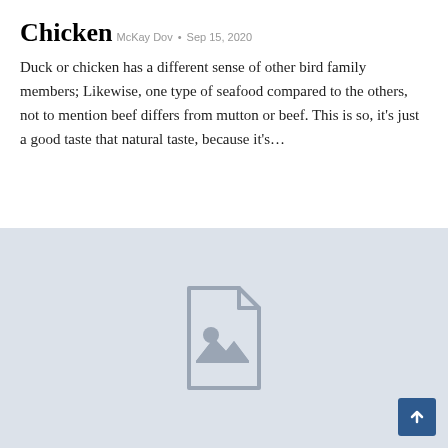Chicken
McKay Dov • Sep 15, 2020
Duck or chicken has a different sense of other bird family members; Likewise, one type of seafood compared to the others, not to mention beef differs from mutton or beef. This is so, it's just a good taste that natural taste, because it's...
[Figure (illustration): Image placeholder icon showing a document with a photo symbol (mountain and sun) on a light blue-grey background]